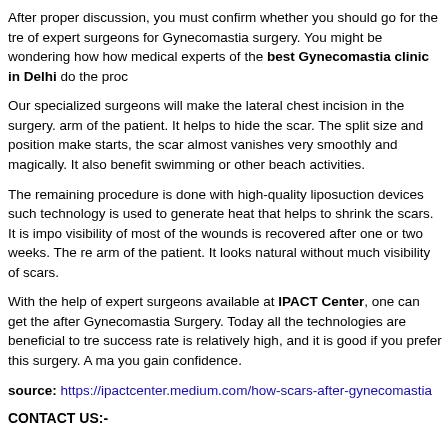After proper discussion, you must confirm whether you should go for the tre of expert surgeons for Gynecomastia surgery. You might be wondering how how medical experts of the best Gynecomastia clinic in Delhi do the proc
Our specialized surgeons will make the lateral chest incision in the surgery. arm of the patient. It helps to hide the scar. The split size and position make starts, the scar almost vanishes very smoothly and magically. It also benefit swimming or other beach activities.
The remaining procedure is done with high-quality liposuction devices such technology is used to generate heat that helps to shrink the scars. It is impo visibility of most of the wounds is recovered after one or two weeks. The re arm of the patient. It looks natural without much visibility of scars.
With the help of expert surgeons available at IPACT Center, one can get th after Gynecomastia Surgery. Today all the technologies are beneficial to tre success rate is relatively high, and it is good if you prefer this surgery. A ma you gain confidence.
source: https://ipactcenter.medium.com/how-scars-after-gynecomastia
CONTACT US:-
IPACT Aesthetics Center
Phone: +91- 7300001394, 7300001395, 7300001396